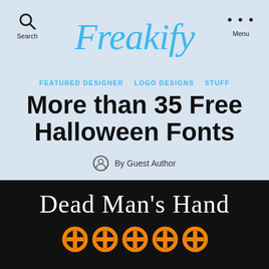Freakify
Search
Menu
FEATURED DESIGNER
LOGO DESIGNS
STUFF
More than 35 Free Halloween Fonts
By Guest Author
[Figure (illustration): Black background with decorative Halloween font text reading 'Dead Man's Hand' in white and orange bone-style letters]